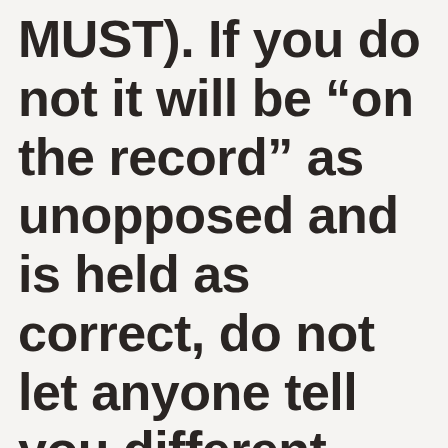MUST). If you do not it will be “on the record” as unopposed and is held as correct, do not let anyone tell you different. You need APPEALABLE ISSUES and you will get those when you OBJECT. It does not matter how the Judge